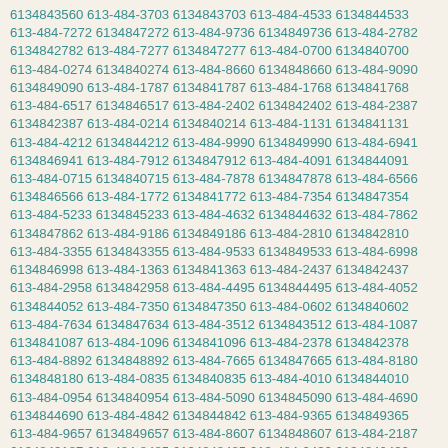6134843560 613-484-3703 6134843703 613-484-4533 6134844533 613-484-7272 6134847272 613-484-9736 6134849736 613-484-2782 6134842782 613-484-7277 6134847277 613-484-0700 6134840700 613-484-0274 6134840274 613-484-8660 6134848660 613-484-9090 6134849090 613-484-1787 6134841787 613-484-1768 6134841768 613-484-6517 6134846517 613-484-2402 6134842402 613-484-2387 6134842387 613-484-0214 6134840214 613-484-1131 6134841131 613-484-4212 6134844212 613-484-9990 6134849990 613-484-6941 6134846941 613-484-7912 6134847912 613-484-4091 6134844091 613-484-0715 6134840715 613-484-7878 6134847878 613-484-6566 6134846566 613-484-1772 6134841772 613-484-7354 6134847354 613-484-5233 6134845233 613-484-4632 6134844632 613-484-7862 6134847862 613-484-9186 6134849186 613-484-2810 6134842810 613-484-3355 6134843355 613-484-9533 6134849533 613-484-6998 6134846998 613-484-1363 6134841363 613-484-2437 6134842437 613-484-2958 6134842958 613-484-4495 6134844495 613-484-4052 6134844052 613-484-7350 6134847350 613-484-0602 6134840602 613-484-7634 6134847634 613-484-3512 6134843512 613-484-1087 6134841087 613-484-1096 6134841096 613-484-2378 6134842378 613-484-8892 6134848892 613-484-7665 6134847665 613-484-8180 6134848180 613-484-0835 6134840835 613-484-4010 6134844010 613-484-0954 6134840954 613-484-5090 6134845090 613-484-4690 6134844690 613-484-4842 6134844842 613-484-9365 6134849365 613-484-9657 6134849657 613-484-8607 6134848607 613-484-2187 6134842187 613-484-8485 6134848485 613-484-0430 6134840430 613-484-7160 6134847160 613-484-1126 6134841126 613-484-6663 6134846663 613-484-6590 6134846590 613-484-3630 6134843630 613-